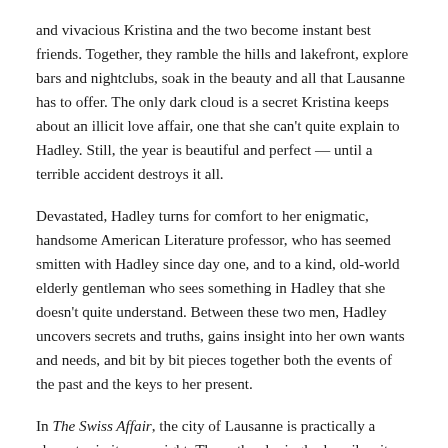and vivacious Kristina and the two become instant best friends. Together, they ramble the hills and lakefront, explore bars and nightclubs, soak in the beauty and all that Lausanne has to offer. The only dark cloud is a secret Kristina keeps about an illicit love affair, one that she can't quite explain to Hadley. Still, the year is beautiful and perfect — until a terrible accident destroys it all.
Devastated, Hadley turns for comfort to her enigmatic, handsome American Literature professor, who has seemed smitten with Hadley since day one, and to a kind, old-world elderly gentleman who sees something in Hadley that she doesn't quite understand. Between these two men, Hadley uncovers secrets and truths, gains insight into her own wants and needs, and bit by bit pieces together both the events of the past and the keys to her present.
In The Swiss Affair, the city of Lausanne is practically a character in its own right. The author lovingly describes its nooks and crannies, the feel of the air, the view of the mountains across the lake, the way the light changes over the course of a year. The people, the cafes and